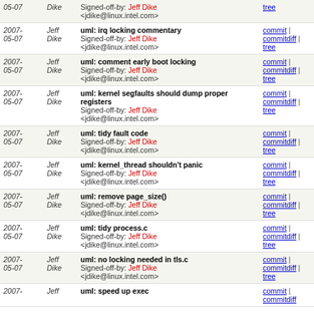| Date | Author | Message | Links |
| --- | --- | --- | --- |
| 2007-05-07 | Jeff Dike | Signed-off-by: Jeff Dike <jdike@linux.intel.com> | commit | commitdiff | tree |
| 2007-05-07 | Jeff Dike | uml: irq locking commentary
Signed-off-by: Jeff Dike <jdike@linux.intel.com> | commit | commitdiff | tree |
| 2007-05-07 | Jeff Dike | uml: comment early boot locking
Signed-off-by: Jeff Dike <jdike@linux.intel.com> | commit | commitdiff | tree |
| 2007-05-07 | Jeff Dike | uml: kernel segfaults should dump proper registers
Signed-off-by: Jeff Dike <jdike@linux.intel.com> | commit | commitdiff | tree |
| 2007-05-07 | Jeff Dike | uml: tidy fault code
Signed-off-by: Jeff Dike <jdike@linux.intel.com> | commit | commitdiff | tree |
| 2007-05-07 | Jeff Dike | uml: kernel_thread shouldn't panic
Signed-off-by: Jeff Dike <jdike@linux.intel.com> | commit | commitdiff | tree |
| 2007-05-07 | Jeff Dike | uml: remove page_size()
Signed-off-by: Jeff Dike <jdike@linux.intel.com> | commit | commitdiff | tree |
| 2007-05-07 | Jeff Dike | uml: tidy process.c
Signed-off-by: Jeff Dike <jdike@linux.intel.com> | commit | commitdiff | tree |
| 2007-05-07 | Jeff Dike | uml: no locking needed in tls.c
Signed-off-by: Jeff Dike <jdike@linux.intel.com> | commit | commitdiff | tree |
| 2007- | Jeff | uml: speed up exec | commit | commitdiff |